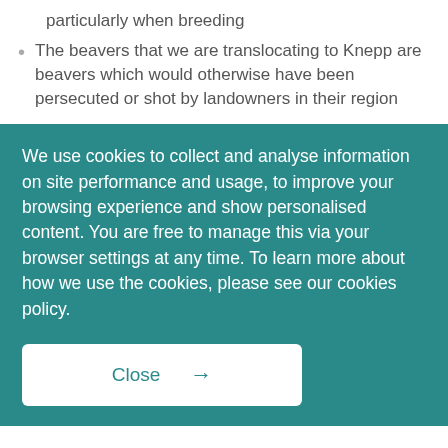particularly when breeding
The beavers that we are translocating to Knepp are beavers which would otherwise have been persecuted or shot by landowners in their region
We use cookies to collect and analyse information on site performance and usage, to improve your browsing experience and show personalised content. You are free to manage this via your browser settings at any time. To learn more about how we use the cookies, please see our cookies policy.
Close →